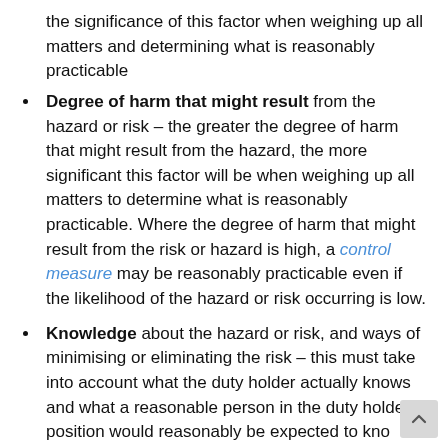the significance of this factor when weighing up all matters and determining what is reasonably practicable
Degree of harm that might result from the hazard or risk – the greater the degree of harm that might result from the hazard, the more significant this factor will be when weighing up all matters to determine what is reasonably practicable. Where the degree of harm that might result from the risk or hazard is high, a control measure may be reasonably practicable even if the likelihood of the hazard or risk occurring is low.
Knowledge about the hazard or risk, and ways of minimising or eliminating the risk – this must take into account what the duty holder actually knows and what a reasonable person in the duty holder's position would reasonably be expected to know
Availability and suitability of ways to eliminate or minimise the risk – requires consideration of what